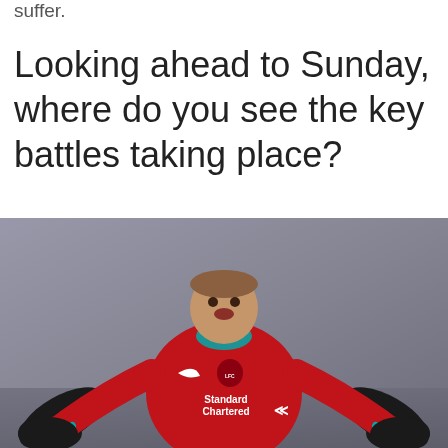suffer.
Looking ahead to Sunday, where do you see the key battles taking place?
[Figure (photo): A Liverpool FC footballer wearing a red Standard Chartered kit (LFC badge, Nike swoosh), black gloves, arms spread wide in an expressive gesture, photographed against a blurred stadium background.]